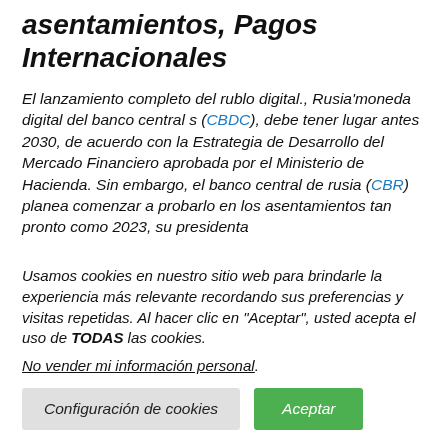Rusia probará el rublo digital en los asentamientos, Pagos Internacionales
El lanzamiento completo del rublo digital., Rusia'moneda digital del banco central s (CBDC), debe tener lugar antes 2030, de acuerdo con la Estrategia de Desarrollo del Mercado Financiero aprobada por el Ministerio de Hacienda. Sin embargo, el banco central de rusia (CBR) planea comenzar a probarlo en los asentamientos tan pronto como 2023, su presidenta
Usamos cookies en nuestro sitio web para brindarle la experiencia más relevante recordando sus preferencias y visitas repetidas. Al hacer clic en "Aceptar", usted acepta el uso de TODAS las cookies.
No vender mi información personal.